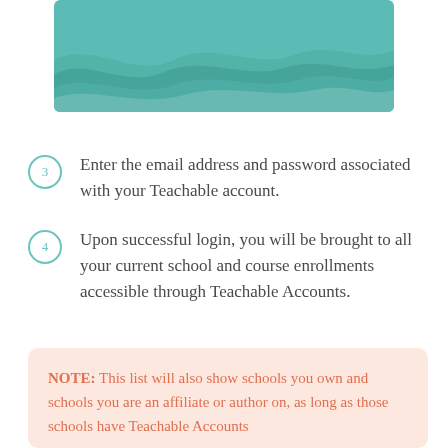[Figure (illustration): Teal/teal-green wave pattern background image, cropped at top of page]
3 Enter the email address and password associated with your Teachable account.
4 Upon successful login, you will be brought to all your current school and course enrollments accessible through Teachable Accounts.
NOTE: This list will also show schools you own and schools you are an affiliate or author on, as long as those schools have Teachable Accounts